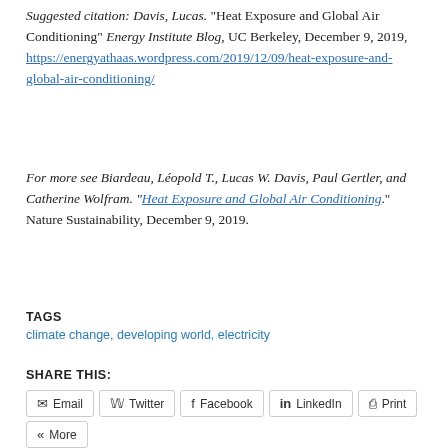Suggested citation: Davis, Lucas. "Heat Exposure and Global Air Conditioning" Energy Institute Blog, UC Berkeley, December 9, 2019, https://energyathaas.wordpress.com/2019/12/09/heat-exposure-and-global-air-conditioning/
For more see Biardeau, Léopold T., Lucas W. Davis, Paul Gertler, and Catherine Wolfram. "Heat Exposure and Global Air Conditioning." Nature Sustainability, December 9, 2019.
TAGS
climate change, developing world, electricity
SHARE THIS:
Email
Twitter
Facebook
LinkedIn
Print
More